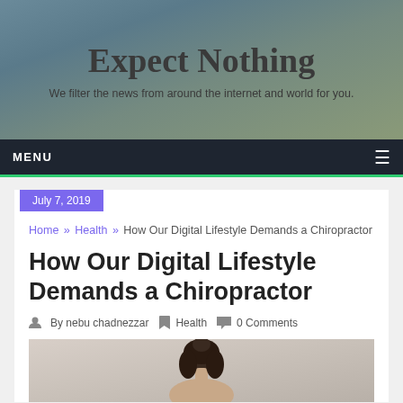Expect Nothing
We filter the news from around the internet and world for you.
MENU
July 7, 2019
Home » Health » How Our Digital Lifestyle Demands a Chiropractor
How Our Digital Lifestyle Demands a Chiropractor
By nebu chadnezzar   Health   0 Comments
[Figure (photo): Partial image of a person from behind, showing head and neck area]